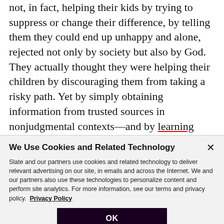not, in fact, helping their kids by trying to suppress or change their difference, by telling them they could end up unhappy and alone, rejected not only by society but also by God. They actually thought they were helping their children by discouraging them from taking a risky path. Yet by simply obtaining information from trusted sources in nonjudgmental contexts—and by learning from research that their rejecting behaviors were actually increasing rather than mitigating their
We Use Cookies and Related Technology
Slate and our partners use cookies and related technology to deliver relevant advertising on our site, in emails and across the Internet. We and our partners also use these technologies to personalize content and perform site analytics. For more information, see our terms and privacy policy. Privacy Policy